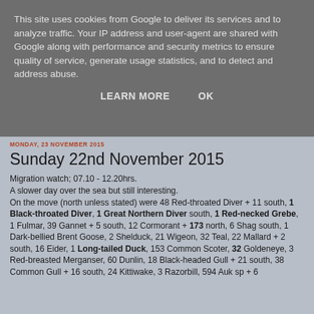This site uses cookies from Google to deliver its services and to analyze traffic. Your IP address and user-agent are shared with Google along with performance and security metrics to ensure quality of service, generate usage statistics, and to detect and address abuse.
LEARN MORE   OK
MONDAY, 23 NOVEMBER 2015
Sunday 22nd November 2015
Migration watch; 07.10 - 12.20hrs.
A slower day over the sea but still interesting.
On the move (north unless stated) were 48 Red-throated Diver + 11 south, 1 Black-throated Diver, 1 Great Northern Diver south, 1 Red-necked Grebe, 1 Fulmar, 39 Gannet + 5 south, 12 Cormorant + 173 north, 6 Shag south, 1 Dark-bellied Brent Goose, 2 Shelduck, 21 Wigeon, 32 Teal, 22 Mallard + 2 south, 16 Eider, 1 Long-tailed Duck, 153 Common Scoter, 32 Goldeneye, 3 Red-breasted Merganser, 60 Dunlin, 18 Black-headed Gull + 21 south, 38 Common Gull + 16 south, 24 Kittiwake, 3 Razorbill, 594 Auk sp + 6